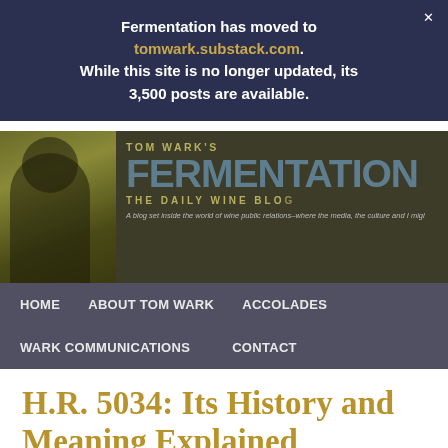Fermentation has moved to tomwark.substack.com. While this site is no longer updated, its 3,500 posts are available.
[Figure (screenshot): Tom Wark's Fermentation - The Daily Wine Blog header banner with photo of Tom Wark and large text logo]
HOME   ABOUT TOM WARK   ACCOLADES   WARK COMMUNICATIONS   CONTACT
H.R. 5034: Its History and Meaning Explained
Posted by Tom Wark on Apr 29, 2010